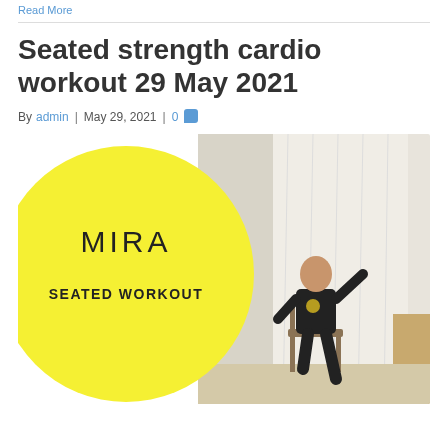Read More
Seated strength cardio workout 29 May 2021
By admin | May 29, 2021 | 0
[Figure (photo): Thumbnail image for seated workout post. Left half shows a large yellow circle with 'MIRA' and 'SEATED WORKOUT' text. Right half shows a woman in black clothes sitting on a chair doing an exercise, with white curtains in background.]